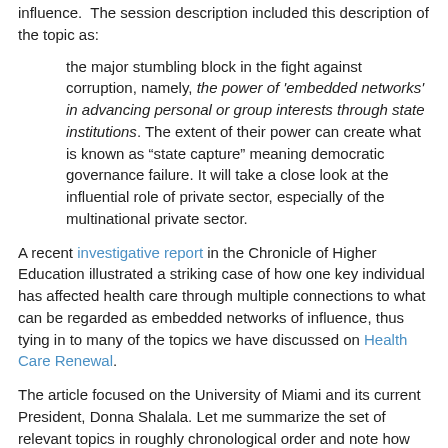influence. The session description included this description of the topic as:
the major stumbling block in the fight against corruption, namely, the power of 'embedded networks' in advancing personal or group interests through state institutions. The extent of their power can create what is known as “state capture” meaning democratic governance failure. It will take a close look at the influential role of private sector, especially of the multinational private sector.
A recent investigative report in the Chronicle of Higher Education illustrated a striking case of how one key individual has affected health care through multiple connections to what can be regarded as embedded networks of influence, thus tying in to many of the topics we have discussed on Health Care Renewal.
The article focused on the University of Miami and its current President, Donna Shalala. Let me summarize the set of relevant topics in roughly chronological order and note how